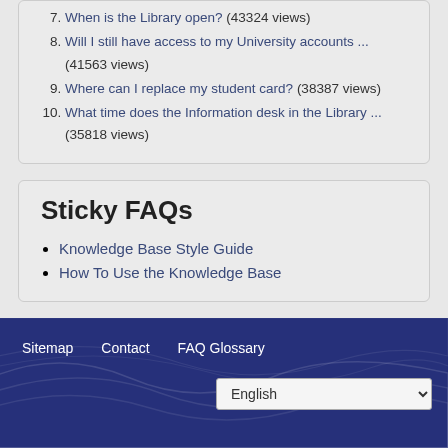7. When is the Library open? (43324 views)
8. Will I still have access to my University accounts ... (41563 views)
9. Where can I replace my student card? (38387 views)
10. What time does the Information desk in the Library ... (35818 views)
Sticky FAQs
Knowledge Base Style Guide
How To Use the Knowledge Base
Sitemap   Contact   FAQ Glossary   English